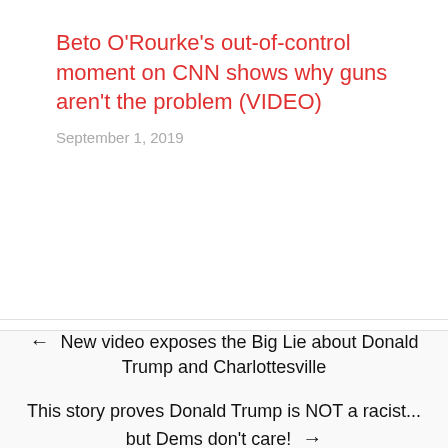Beto O'Rourke's out-of-control moment on CNN shows why guns aren't the problem (VIDEO)
September 1, 2019
← New video exposes the Big Lie about Donald Trump and Charlottesville
This story proves Donald Trump is NOT a racist... but Dems don't care! →